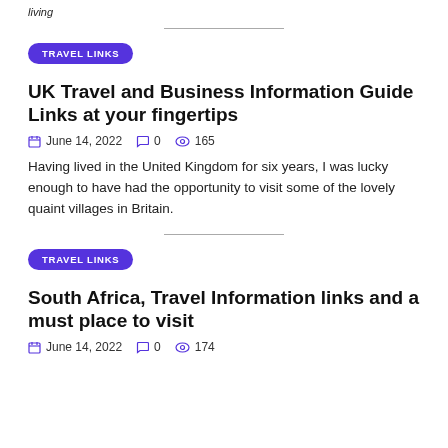living
TRAVEL LINKS
UK Travel and Business Information Guide Links at your fingertips
June 14, 2022   0   165
Having lived in the United Kingdom for six years, I was lucky enough to have had the opportunity to visit some of the lovely quaint villages in Britain.
TRAVEL LINKS
South Africa, Travel Information links and a must place to visit
June 14, 2022   0   174